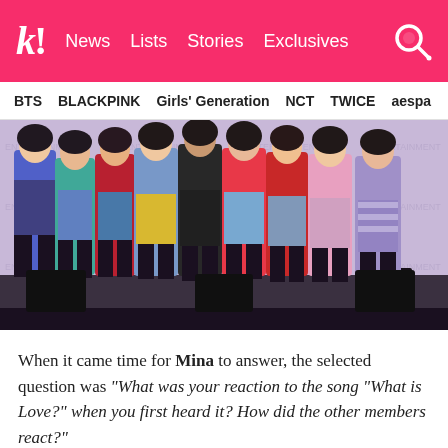k! News  Lists  Stories  Exclusives
BTS  BLACKPINK  Girls' Generation  NCT  TWICE  aespa
[Figure (photo): Group photo of TWICE members (9 members) posing on a stage in colorful outfits in front of a backdrop with entertainment logos. They are wearing various outfits including shorts, skirts, and tops in blue, red, green, yellow, pink, and striped patterns. They are wearing ankle boots.]
When it came time for Mina to answer, the selected question was “What was your reaction to the song “What is Love?” when you first heard it? How did the other members react?”